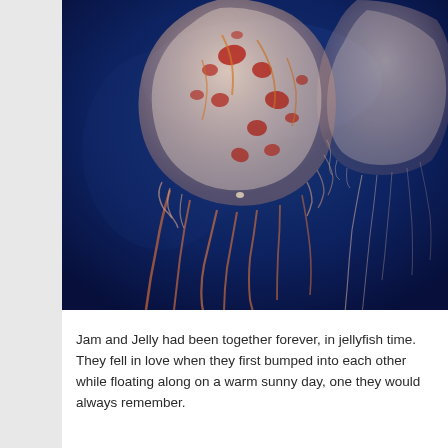[Figure (photo): Two jellyfish with translucent bell-shaped bodies, reddish-orange spots and markings, and long trailing tentacles, photographed against a deep blue background. The larger jellyfish is in the foreground-left, the second is partially visible on the right.]
Jam and Jelly had been together forever, in jellyfish time. They fell in love when they first bumped into each other while floating along on a warm sunny day, one they would always remember.